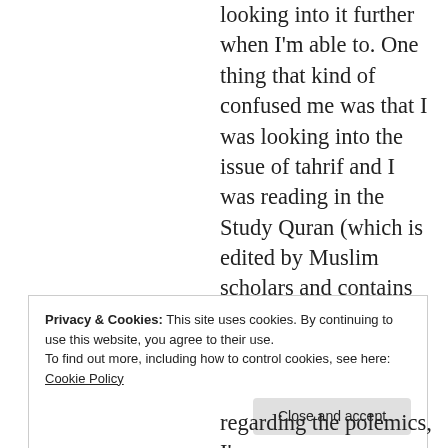looking into it further when I'm able to. One thing that kind of confused me was that I was looking into the issue of tahrif and I was reading in the Study Quran (which is edited by Muslim scholars and contains valuable classical and modern commentary from a variety of Islamic viewpoints) on page 36 that the opinion of early scholars was that the
Privacy & Cookies: This site uses cookies. By continuing to use this website, you agree to their use.
To find out more, including how to control cookies, see here: Cookie Policy
regarding the polemics, I'm